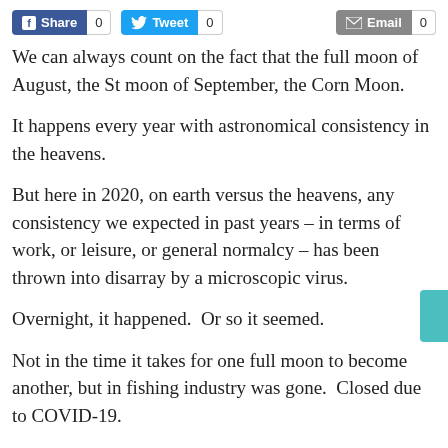[Figure (other): Social sharing buttons: Facebook Share with count 0, Twitter Tweet with count 0, Email with count 0]
We can always count on the fact that the full moon of August, the St moon of September, the Corn Moon.
It happens every year with astronomical consistency in the heavens.
But here in 2020, on earth versus the heavens, any consistency we expected in past years – in terms of work, or leisure, or general normalcy – has been thrown into disarray by a microscopic virus.
Overnight, it happened.  Or so it seemed.
Not in the time it takes for one full moon to become another, but in fishing industry was gone.  Closed due to COVID-19.
Restaurants, grocery stores, small markets, schools, and export trade on the margins at reduced capacity.